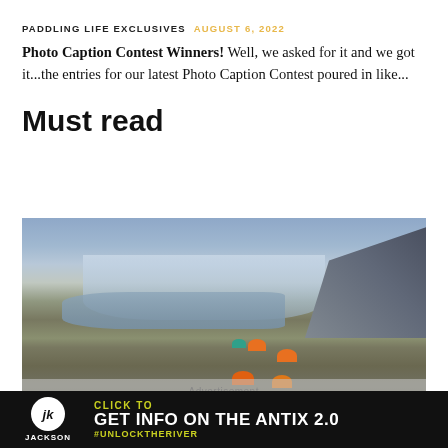PADDLING LIFE EXCLUSIVES   AUGUST 6, 2022
Photo Caption Contest Winners!  Well, we asked for it and we got it...the entries for our latest Photo Caption Contest poured in like...
Must read
[Figure (photo): Panoramic photo of an Arctic or glacial landscape with icebergs on a calm lake/fjord, rocky terrain with colorful camping tents (orange, teal) in the foreground, mountains and glacier in the background, overcast sky. An 'Advertisement' overlay label appears at the bottom of the image.]
[Figure (other): Jackson Kayak advertisement banner: dark background with Jackson Kayak logo (JK circular logo with 'jackson' text), text reading 'CLICK TO GET INFO ON THE ANTIX 2.0 #UNLOCKTHERIVER' in white and yellow-green.]